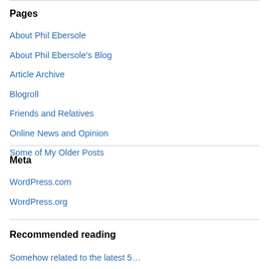Pages
About Phil Ebersole
About Phil Ebersole's Blog
Article Archive
Blogroll
Friends and Relatives
Online News and Opinion
Some of My Older Posts
Meta
WordPress.com
WordPress.org
Recommended reading
Somehow related to the latest 5…